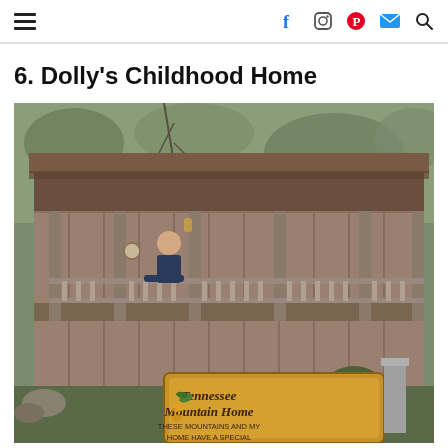Navigation header with hamburger menu and social icons
6. Dolly's Childhood Home
[Figure (photo): A rustic wooden cabin with a covered front porch and vertical board siding. A person leans on the porch railing on the upper level. Trees are visible in the background. In the foreground is a wooden sign reading 'Tennessee Mountain Home — These Mountains and my Home Have a Special'.]